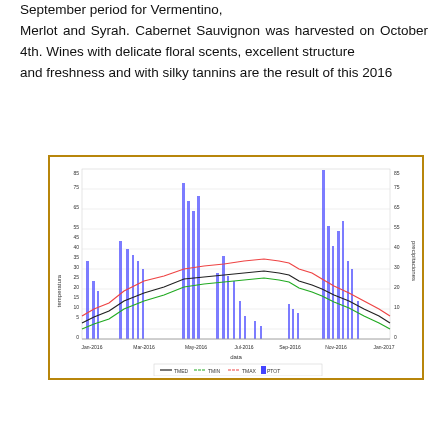September period for Vermentino, Merlot and Syrah. Cabernet Sauvignon was harvested on October 4th. Wines with delicate floral scents, excellent structure and freshness and with silky tannins are the result of this 2016
[Figure (continuous-plot): Time series chart showing temperature (TMED, TMIN, TMAX in red, green, black lines) and precipitation (PTOT, blue bars) from Jan-2016 to Jan-2017. Left y-axis: temperatura (0-85), Right y-axis: precipitaciones (0-85). X-axis: data (months). Legend: TMED, TMIN, TMAX, PTOT.]